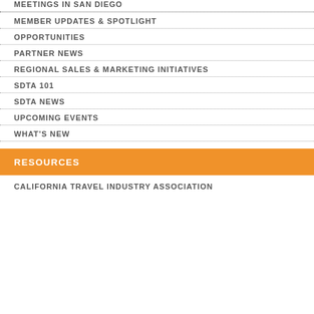MEETINGS IN SAN DIEGO
MEMBER UPDATES & SPOTLIGHT
OPPORTUNITIES
PARTNER NEWS
REGIONAL SALES & MARKETING INITIATIVES
SDTA 101
SDTA NEWS
UPCOMING EVENTS
WHAT'S NEW
RESOURCES
CALIFORNIA TRAVEL INDUSTRY ASSOCIATION